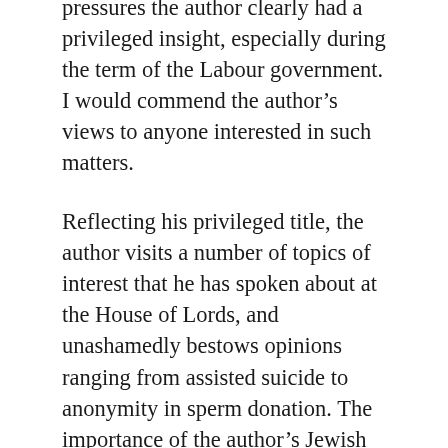pressures the author clearly had a privileged insight, especially during the term of the Labour government. I would commend the author's views to anyone interested in such matters.
Reflecting his privileged title, the author visits a number of topics of interest that he has spoken about at the House of Lords, and unashamedly bestows opinions ranging from assisted suicide to anonymity in sperm donation. The importance of the author's Jewish faith is identifiable and his subsequent interest in Middle Eastern politics results in an attempt at summarising and digesting this complex and otherwise problematic issue with numerous good opinions.
The book concludes with a moving tribute to Daniel, the author's late son, the impact of his passing being vividly and eloquently described, leaving the reader sharing a sense of melancholy if not